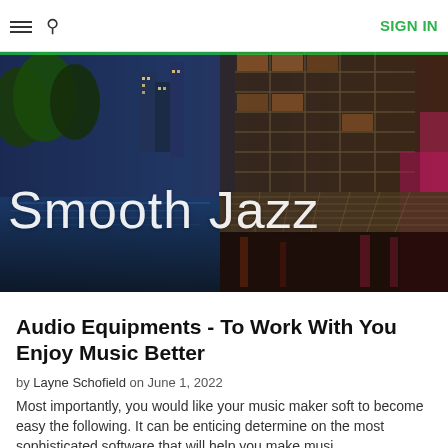≡  🔍  SIGN IN
[Figure (photo): Wide panoramic hero image of a city waterway with reflections, trees, and modern buildings at dusk/night, overlaid with the text 'Smooth Jazz' in large white letters]
Audio Equipments - To Work With You Enjoy Music Better
by Layne Schofield on June 1, 2022
Most importantly, you would like your music maker soft to become easy the following. It can be enticing determine on the most sophisticated software that will help you make musi...
35 views  0 likes